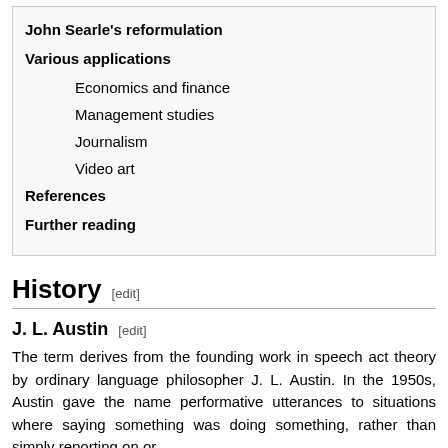John Searle's reformulation
Various applications
Economics and finance
Management studies
Journalism
Video art
References
Further reading
History [edit]
J. L. Austin [edit]
The term derives from the founding work in speech act theory by ordinary language philosopher J. L. Austin. In the 1950s, Austin gave the name performative utterances to situations where saying something was doing something, rather than simply reporting on or